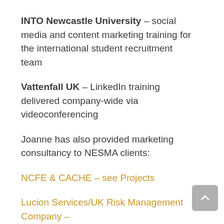INTO Newcastle University – social media and content marketing training for the international student recruitment team
Vattenfall UK – LinkedIn training delivered company-wide via videoconferencing
Joanne has also provided marketing consultancy to NESMA clients:
NCFE & CACHE – see Projects
Lucion Services/UK Risk Management Company – see Project